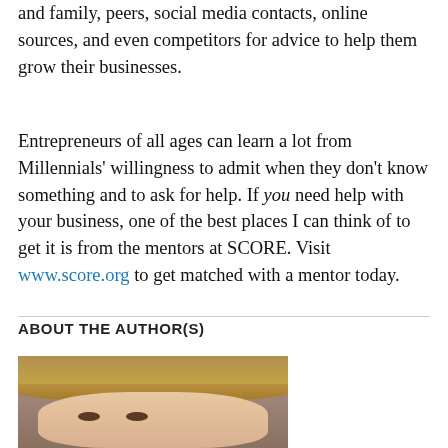and family, peers, social media contacts, online sources, and even competitors for advice to help them grow their businesses.
Entrepreneurs of all ages can learn a lot from Millennials' willingness to admit when they don't know something and to ask for help. If you need help with your business, one of the best places I can think of to get it is from the mentors at SCORE. Visit www.score.org to get matched with a mentor today.
ABOUT THE AUTHOR(S)
[Figure (photo): Close-up photo of a woman with blonde hair and bangs, looking at the camera.]